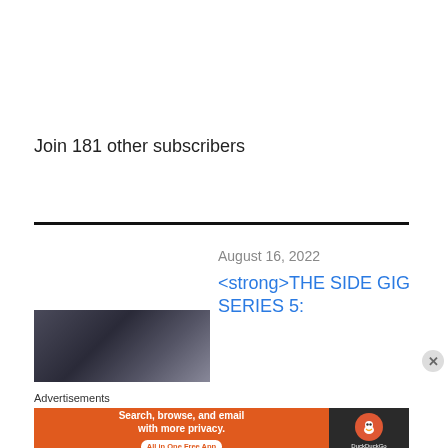Join 181 other subscribers
August 16, 2022
<strong>THE SIDE GIG SERIES 5:
[Figure (photo): Dark blurred photo showing a person's head/hair from behind]
Advertisements
[Figure (other): DuckDuckGo advertisement banner: Search, browse, and email with more privacy. All in One Free App. DuckDuckGo logo on dark background.]